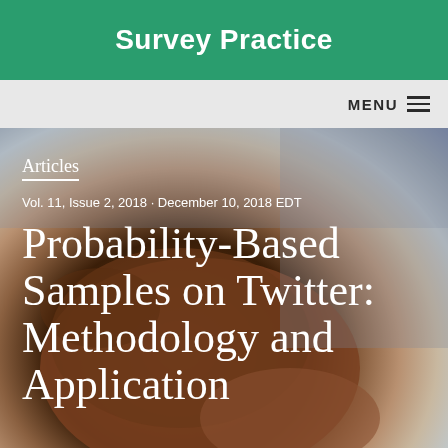Survey Practice
MENU
Articles
Vol. 11, Issue 2, 2018 · December 10, 2018 EDT
[Figure (photo): Close-up photograph of a dark-skinned hand resting on a surface, with a blurred background.]
Probability-Based Samples on Twitter: Methodology and Application